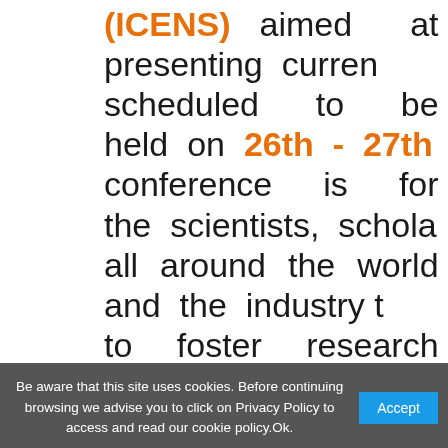(ICENS) aimed at presenting current scheduled to be held on 26th - 27th conference is for the scientists, scholars all around the world and the industry to foster research relations between the provides opportunities for the delegates experiences face to face, to establish partners for future collaboration.
This Conference is Organized by Scientists (The IRES),The conference
Be aware that this site uses cookies. Before continuing browsing we advise you to click on Privacy Policy to access and read our cookie policy.Ok.